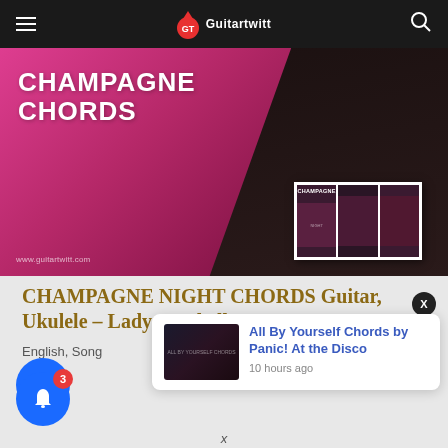Guitartwitt navigation bar with hamburger menu, logo, and search icon
[Figure (photo): Hero banner image showing 'CHAMPAGNE CHORDS' text on a pink diagonal background with guitar fretboard in dark background and a film strip showing Champagne Night album artwork. URL: www.guitartwitt.com]
CHAMPAGNE NIGHT CHORDS Guitar, Ukulele – Lady Antebellum
English, Song
[Figure (screenshot): Notification popup showing thumbnail of 'All By Yourself Chords by Panic! At the Disco' with text '10 hours ago', with a close X button and a blue bell notification button with badge showing 3]